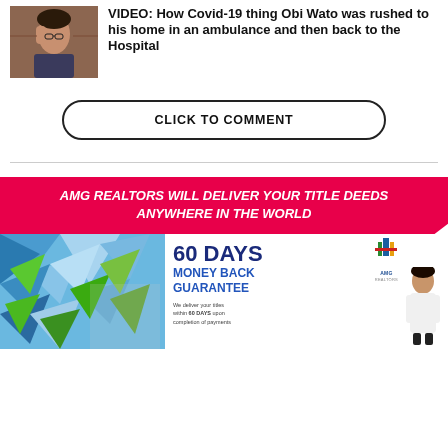[Figure (photo): Thumbnail photo of a distressed-looking man holding his hand to his head, standing in front of a brick wall]
VIDEO: How Covid-19 thing Obi Wato was rushed to his home in an ambulance and then back to the Hospital
CLICK TO COMMENT
[Figure (infographic): AMG Realtors banner: AMG REALTORS WILL DELIVER YOUR TITLE DEEDS ANYWHERE IN THE WORLD]
[Figure (infographic): AMG Realtors advertisement with geometric blue and green shapes on left, AMG logo, 60 DAYS MONEY BACK GUARANTEE text, and a man in white shirt on right. Small text: We deliver your titles within 60 DAYS upon completion of payments]